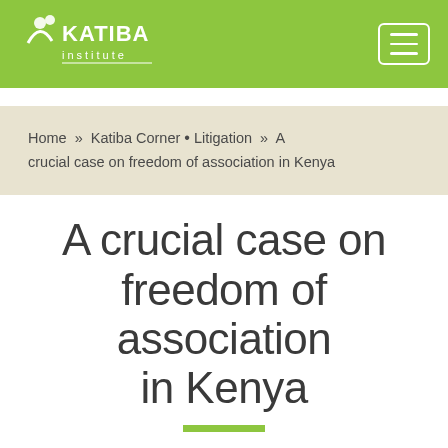Katiba Institute
Home » Katiba Corner • Litigation » A crucial case on freedom of association in Kenya
A crucial case on freedom of association in Kenya
Freedom of association is fundamental to a healthy democracy. It enables us as social beings to form